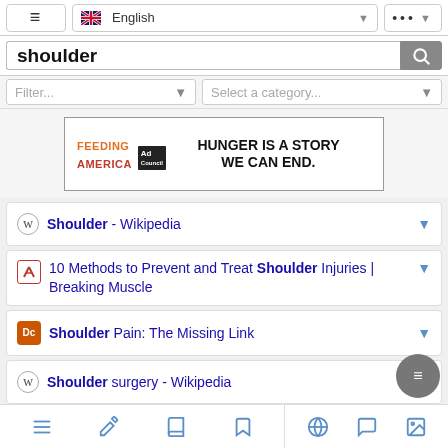[Figure (screenshot): Browser navigation bar with hamburger menu, English language selector with UK flag, and more options button]
shoulder
Filter...   Select a category...
[Figure (screenshot): Advertisement banner: FEEDING AMERICA Ad Council - HUNGER IS A STORY WE CAN END.]
Shoulder - Wikipedia
10 Methods to Prevent and Treat Shoulder Injuries | Breaking Muscle
Shoulder Pain: The Missing Link
Shoulder surgery - Wikipedia
Dislocated Shoulder